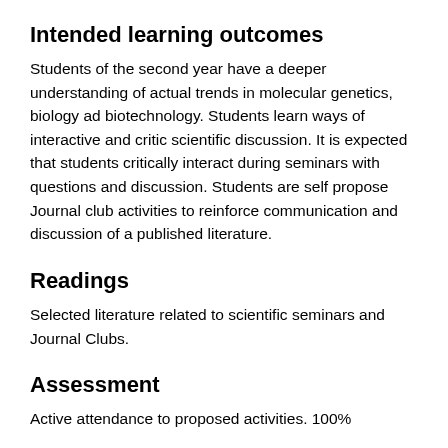Intended learning outcomes
Students of the second year have a deeper understanding of actual trends in molecular genetics, biology ad biotechnology. Students learn ways of interactive and critic scientific discussion. It is expected that students critically interact during seminars with questions and discussion. Students are self propose Journal club activities to reinforce communication and discussion of a published literature.
Readings
Selected literature related to scientific seminars and Journal Clubs.
Assessment
Active attendance to proposed activities. 100%